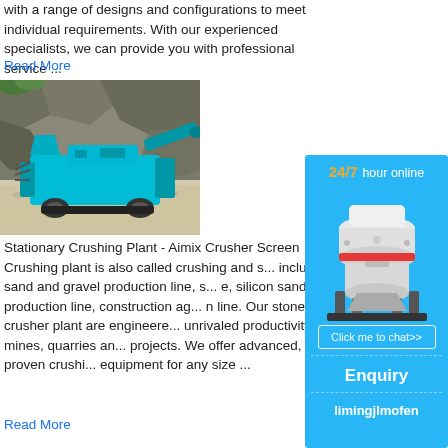with a range of designs and configurations to meet individual requirements. With our experienced specialists, we can provide you with professional service ...
Read More
[Figure (photo): Teal/blue mobile crushing plant machine on rocky terrain outdoors]
Stationary Crushing Plant - Aimix Crusher Screen Crushing plant is also called crushing and s... includes sand and gravel production line, s... e, silicon sand production line, construction ag... n line. Our stone crusher plant are engineere... unrivaled productivity in mines, quarries an... projects. We offer advanced, proven crushi... equipment for any size ...
Read More
[Figure (infographic): Sidebar advertisement: 24/7 hour online, white cone crusher machine image, Click me to chat>> button, Enquiry section, limingjlmofen text]